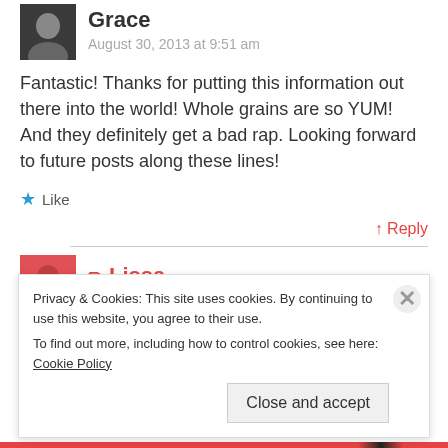Grace
August 30, 2013 at 9:51 am
Fantastic! Thanks for putting this information out there into the world! Whole grains are so YUM! And they definitely get a bad rap. Looking forward to future posts along these lines!
★ Like
↑ Reply
✏ Lissa
Privacy & Cookies: This site uses cookies. By continuing to use this website, you agree to their use.
To find out more, including how to control cookies, see here: Cookie Policy
Close and accept